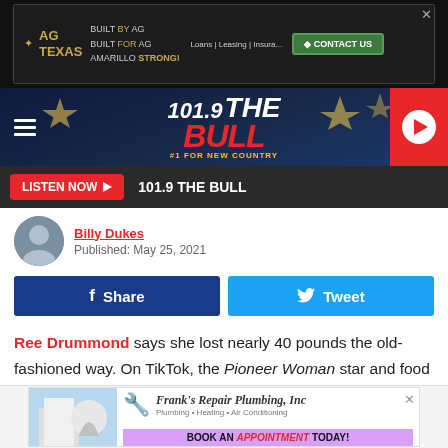[Figure (screenshot): AG Texas advertisement banner: 'Built by AG, Built for AG, Amarillo Strong!' with contact us button and loans/leasing/insurance text]
[Figure (logo): 101.9 The Bull radio station navigation bar with hamburger menu, logo, and play button]
[Figure (screenshot): Listen Now button bar with 101.9 THE BULL text]
Billy Dukes
Published: May 25, 2021
Share  Tweet
Ree Drummond says she lost nearly 40 pounds the old-fashioned way. On TikTok, the Pioneer Woman star and food blogger opened up about her weight loss journey and how her love of food got a little out of hand during the COVID-19 pandemic.
[Figure (screenshot): Frank's Repair Plumbing, Inc advertisement with Book An Appointment Today banner]